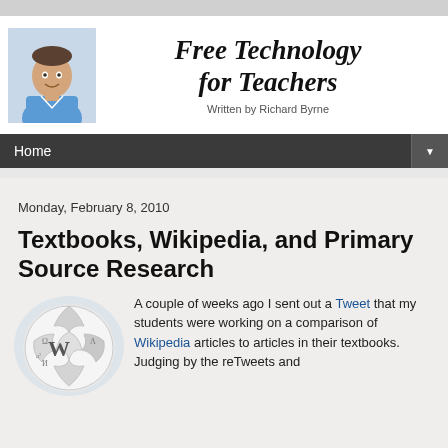[Figure (photo): Photo of Richard Byrne (man in blue shirt) and blog title 'Free Technology for Teachers Written by Richard Byrne']
Home
Monday, February 8, 2010
Textbooks, Wikipedia, and Primary Source Research
[Figure (logo): Wikipedia globe logo (puzzle piece sphere)]
A couple of weeks ago I sent out a Tweet that my students were working on a comparison of Wikipedia articles to articles in their textbooks. Judging by the reTweets and